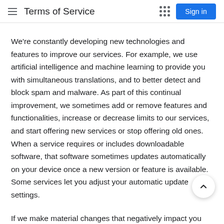Terms of Service
We're constantly developing new technologies and features to improve our services. For example, we use artificial intelligence and machine learning to provide you with simultaneous translations, and to better detect and block spam and malware. As part of this continual improvement, we sometimes add or remove features and functionalities, increase or decrease limits to our services, and start offering new services or stop offering old ones. When a service requires or includes downloadable software, that software sometimes updates automatically on your device once a new version or feature is available. Some services let you adjust your automatic update settings.
If we make material changes that negatively impact you our services or if we stop offering a service, we'll provide y h reasonable advance notice, except in urgent situations such as